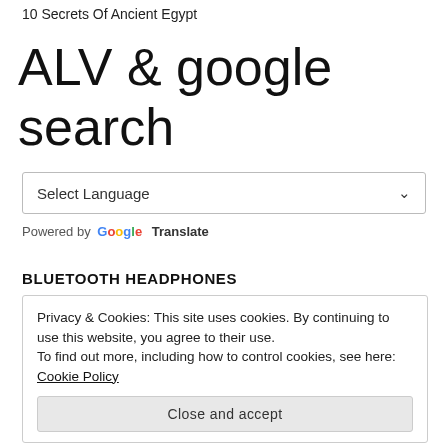10 Secrets Of Ancient Egypt
ALV & google search
Select Language
Powered by Google Translate
BLUETOOTH HEADPHONES
Privacy & Cookies: This site uses cookies. By continuing to use this website, you agree to their use.
To find out more, including how to control cookies, see here: Cookie Policy
Close and accept